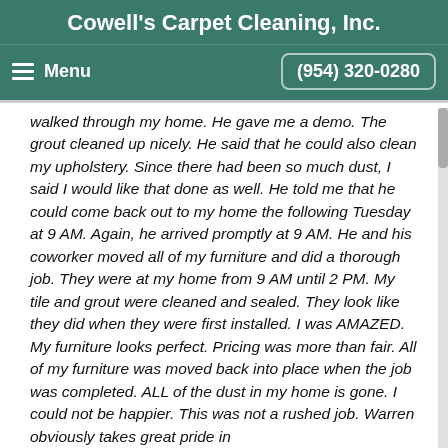Cowell's Carpet Cleaning, Inc.
Menu   (954) 320-0280
walked through my home. He gave me a demo. The grout cleaned up nicely. He said that he could also clean my upholstery. Since there had been so much dust, I said I would like that done as well. He told me that he could come back out to my home the following Tuesday at 9 AM. Again, he arrived promptly at 9 AM. He and his coworker moved all of my furniture and did a thorough job. They were at my home from 9 AM until 2 PM. My tile and grout were cleaned and sealed. They look like they did when they were first installed. I was AMAZED. My furniture looks perfect. Pricing was more than fair. All of my furniture was moved back into place when the job was completed. ALL of the dust in my home is gone. I could not be happier. This was not a rushed job. Warren obviously takes great pride in